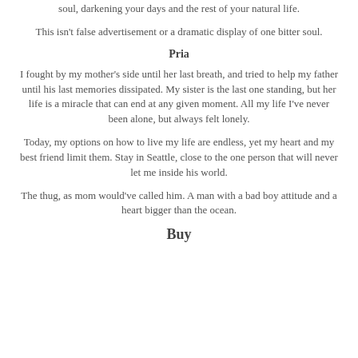soul, darkening your days and the rest of your natural life.
This isn't false advertisement or a dramatic display of one bitter soul.
Pria
I fought by my mother's side until her last breath, and tried to help my father until his last memories dissipated. My sister is the last one standing, but her life is a miracle that can end at any given moment. All my life I've never been alone, but always felt lonely.
Today, my options on how to live my life are endless, yet my heart and my best friend limit them. Stay in Seattle, close to the one person that will never let me inside his world.
The thug, as mom would've called him. A man with a bad boy attitude and a heart bigger than the ocean.
Buy